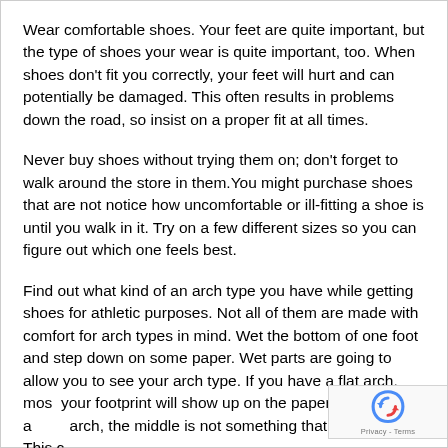Wear comfortable shoes. Your feet are quite important, but the type of shoes your wear is quite important, too. When shoes don't fit you correctly, your feet will hurt and can potentially be damaged. This often results in problems down the road, so insist on a proper fit at all times.
Never buy shoes without trying them on; don't forget to walk around the store in them.You might purchase shoes that are not notice how uncomfortable or ill-fitting a shoe is until you walk in it. Try on a few different sizes so you can figure out which one feels best.
Find out what kind of an arch type you have while getting shoes for athletic purposes. Not all of them are made with comfort for arch types in mind. Wet the bottom of one foot and step down on some paper. Wet parts are going to allow you to see your arch type. If you have a flat arch, mos your footprint will show up on the paper. If you have a arch, the middle is not something that will show. This c